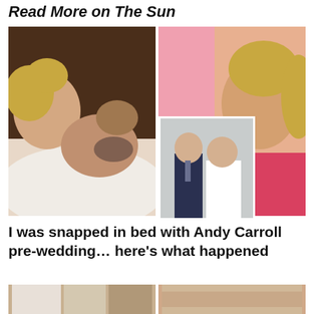Read More on The Sun
[Figure (photo): Composite photo: left side shows a couple in bed (blonde woman and man with beard sleeping); right side shows a blonde woman in a pink/red dress with an inset smaller photo of a young man in a suit and a woman in a white dress.]
I was snapped in bed with Andy Carroll pre-wedding… here's what happened
[Figure (photo): Two thumbnail images at the bottom of the page, partially visible.]